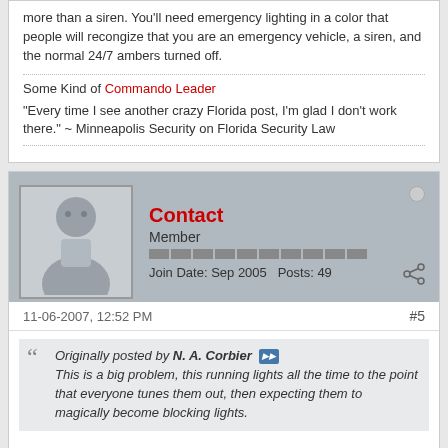more than a siren. You'll need emergency lighting in a color that people will recongize that you are an emergency vehicle, a siren, and the normal 24/7 ambers turned off.
Some Kind of Commando Leader
"Every time I see another crazy Florida post, I'm glad I don't work there." ~ Minneapolis Security on Florida Security Law
Contact
Member
Join Date: Sep 2005   Posts: 49
11-06-2007, 12:52 PM
#5
Originally posted by N. A. Corbier
This is a big problem, this running lights all the time to the point that everyone tunes them out, then expecting them to magically become blocking lights.
I liken the yellow strobes to car alarms...
Anytime someone hears them, the first thing to come to mind is...I wish that